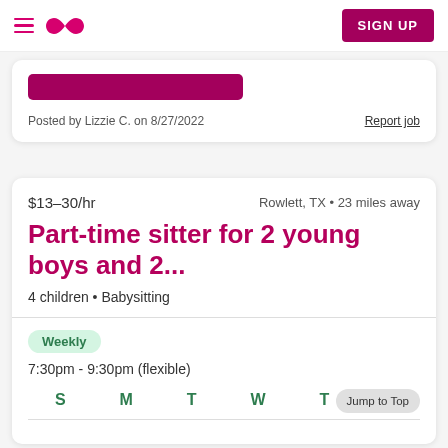Navigation bar with hamburger menu, infinity logo, and SIGN UP button
Posted by Lizzie C. on 8/27/2022
Report job
$13–30/hr
Rowlett, TX • 23 miles away
Part-time sitter for 2 young boys and 2...
4 children • Babysitting
Weekly
7:30pm - 9:30pm (flexible)
S  M  T  W  T
Jump to Top